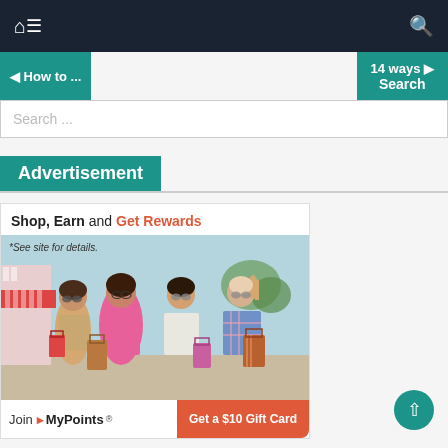Navigation bar with home icon, menu icon, and search icon
◄ How to ...    14 ways ►  Search
Search ...
Advertisement
[Figure (photo): Advertisement for MyPoints rewards program. Shows 'Shop, Earn and Get Rewards' headline with a photo of four women carrying shopping bags. Bottom bar shows 'Join MyPoints®' and 'Get a $10 Gift Card' button. Text: '*See site for details.']